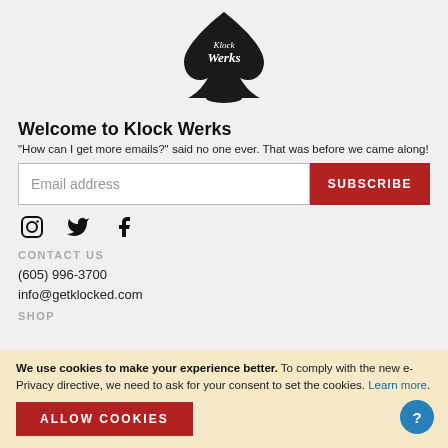[Figure (logo): Klock Werks spade logo with cursive text]
Welcome to Klock Werks
"How can I get more emails?" said no one ever. That was before we came along!
Email address [input field] SUBSCRIBE [button]
[Figure (illustration): Social media icons: Instagram, Twitter, Facebook]
CONTACT US
(605) 996-3700
info@getklocked.com
SHOP
We use cookies to make your experience better. To comply with the new e-Privacy directive, we need to ask for your consent to set the cookies. Learn more.
ALLOW COOKIES [button]